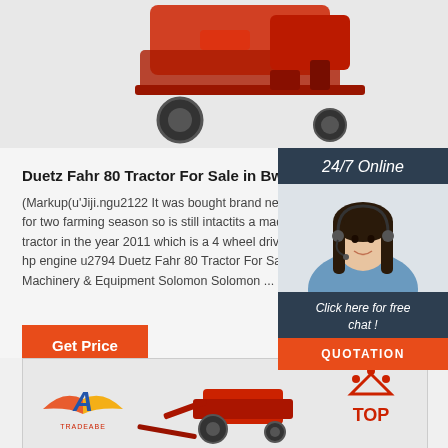[Figure (photo): Red tractor/farm machinery viewed from above/side, partially cropped at top of page]
Duetz Fahr 80 Tractor For Sale in Bwari - Farm M...
(Markup(u'Jiji.ngu2122 It was bought brand newuse for two farming season so is still intactits a made in tractor in the year 2011 which is a 4 wheel drive ma hp engine u2794 Duetz Fahr 80 Tractor For Sale in Machinery & Equipment Solomon Solomon ...
Get Price
[Figure (photo): 24/7 Online chat widget with customer service representative woman wearing headset, dark blue/slate background, orange QUOTATION button]
[Figure (photo): Bottom panel showing red farm machinery/tractor with brand logo (stylized A with wings - TradeABE) on left and TOP arrowhead logo on right]